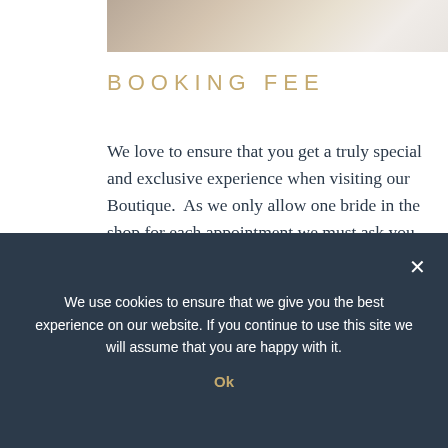[Figure (photo): Partial photo strip at top showing what appears to be a bridal boutique interior with soft warm tones]
BOOKING FEE
We love to ensure that you get a truly special and exclusive experience when visiting our Boutique.  As we only allow one bride in the shop for each appointment we must ask you to book ahead.  Our appointments are in high demand so please book with plenty of advanced notice.
To secure your appointment we ask for a £35 ... booking fee for ... appointments.
This fee is non-refundable, but should you choose
We use cookies to ensure that we give you the best experience on our website. If you continue to use this site we will assume that you are happy with it.
Ok